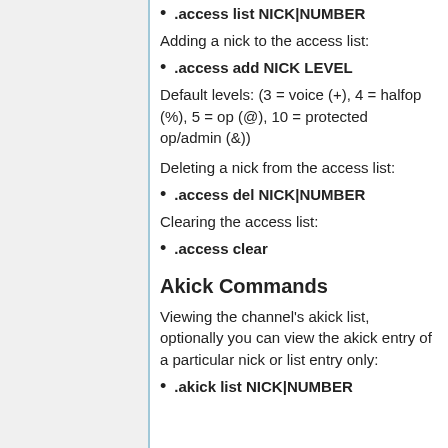.access list NICK|NUMBER
Adding a nick to the access list:
.access add NICK LEVEL
Default levels: (3 = voice (+), 4 = halfop (%), 5 = op (@), 10 = protected op/admin (&))
Deleting a nick from the access list:
.access del NICK|NUMBER
Clearing the access list:
.access clear
Akick Commands
Viewing the channel's akick list, optionally you can view the akick entry of a particular nick or list entry only:
.akick list NICK|NUMBER